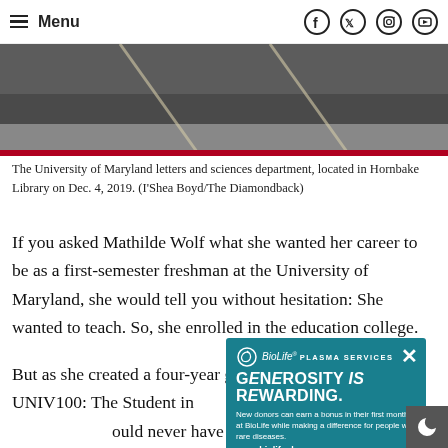Menu
[Figure (photo): Basketball court floor or road surface viewed from above, showing dark surface with light-colored lines, with a red border at bottom.]
The University of Maryland letters and sciences department, located in Hornbake Library on Dec. 4, 2019. (I'Shea Boyd/The Diamondback)
If you asked Mathilde Wolf what she wanted her career to be as a first-semester freshman at the University of Maryland, she would tell you without hesitation: She wanted to teach. So, she enrolled in the education college.
But as she created a four-year graduation plan in her UNIV100: The Student in the University class, Wolf realized she would never have time in h... ...cation. So, at the end ...letters and sciences, mark...
[Figure (advertisement): BioLife Plasma Services advertisement with teal background. Headline: GENEROSITY is REWARDING. Subtext: New donors can earn a bonus in their first month at BioLife while making a difference for people with rare diseases. URL: www.biolifeplasma.com]